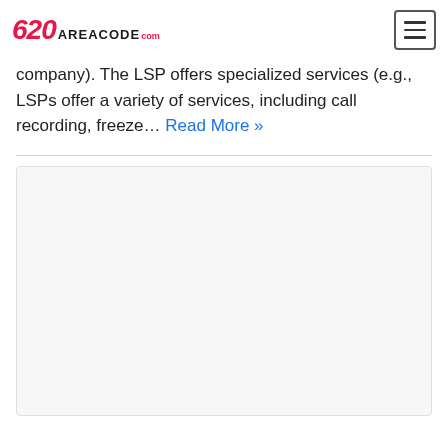620 AREACODE.com
company). The LSP offers specialized services (e.g., LSPs offer a variety of services, including call recording, freeze… Read More »
[Figure (other): White/light gray empty image placeholder box]